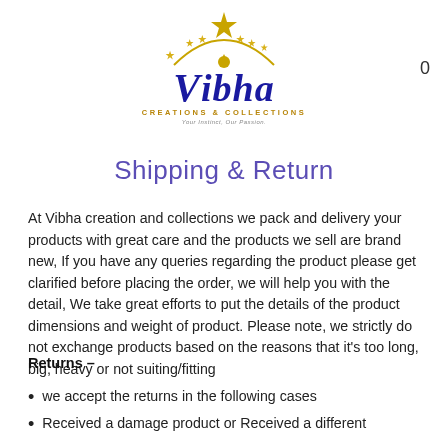[Figure (logo): Vibha Creations & Collections logo with necklace illustration above stylized text]
Shipping & Return
At Vibha creation and collections we pack and delivery your products with great care and the products we sell are brand new, If you have any queries regarding the product please get clarified before placing the order, we will help you with the detail, We take great efforts to put the details of the product dimensions and weight of product. Please note, we strictly do not exchange products based on the reasons that it's too long, big, heavy or not suiting/fitting
Returns –
we accept the returns in the following cases
Received a damage product or Received a different